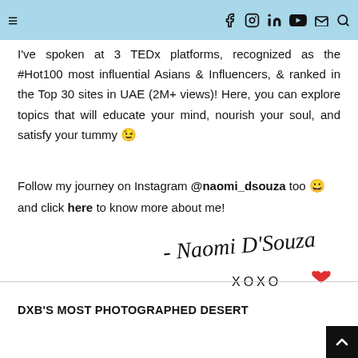≡ f in ▶ ✉ 🔍
I've spoken at 3 TEDx platforms, recognized as the #Hot100 most influential Asians & Influencers, & ranked in the Top 30 sites in UAE (2M+ views)! Here, you can explore topics that will educate your mind, nourish your soul, and satisfy your tummy 😉
Follow my journey on Instagram @naomi_dsouza too 😀 and click here to know more about me!
[Figure (illustration): Handwritten cursive signature reading '- Naomi D'Souza' with 'XOXO' and a red heart below]
DXB'S MOST PHOTOGRAPHED DESERT